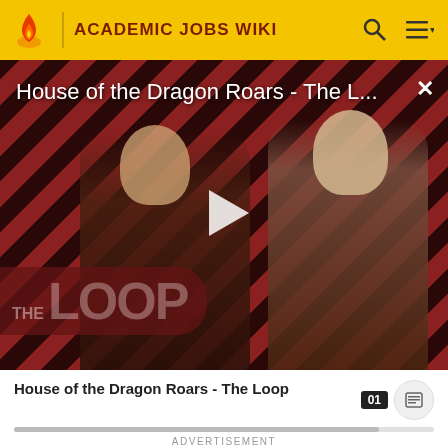ACADEMIC JOBS WIKI
[Figure (screenshot): Video advertisement overlay showing 'House of the Dragon Roars - The L...' with a play button, diagonal red/dark stripe background, characters from show, and THE LOOP logo watermark. Close button (X) in top right.]
House of the Dragon Roars - The Loop
ADVERTISEMENT
Fitchburg State University